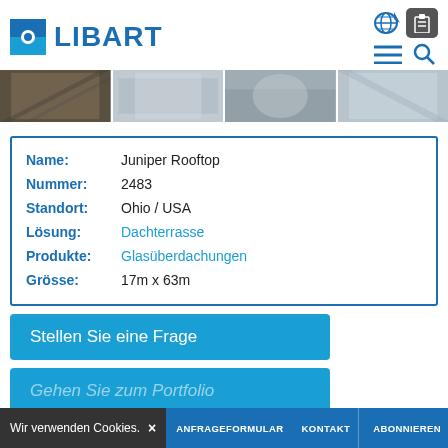LIBART
[Figure (photo): Four image strip showing industrial/architectural interior scenes]
| Name: | Juniper Rooftop |
| Nummer: | 2483 |
| Standort: | Ohio / USA |
| Lösung: | Dachterrasse |
| Produkte: | Glasüberdachungen |
| Grösse: | 17m x 63m |
Stellen Sie eine Frage
Gehen Sie zum Portfolio
Wir verwenden Cookies. × ANFRAGEFORMULAR KONTAKT ABONNIEREN